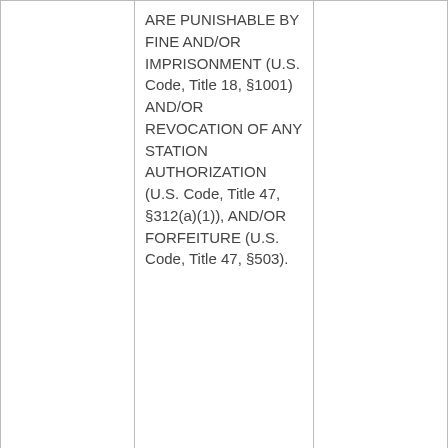|  | ARE PUNISHABLE BY FINE AND/OR IMPRISONMENT (U.S. Code, Title 18, §1001) AND/OR REVOCATION OF ANY STATION AUTHORIZATION (U.S. Code, Title 47, §312(a)(1)), AND/OR FORFEITURE (U.S. Code, Title 47, §503). |  |
|  | I certify that this application includes all required and relevant |  |